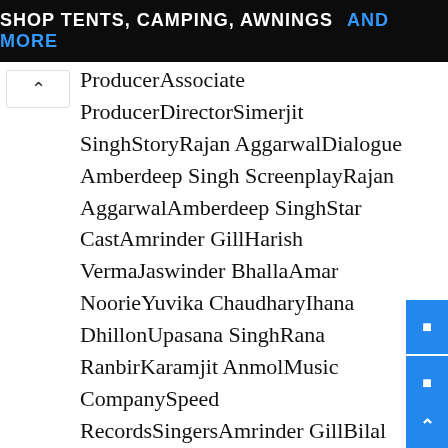SHOP TENTS, CAMPING, AWNINGS AND MORE
ProducerAssociate ProducerDirectorSimerjit SinghStoryRajan AggarwalDialogue Amberdeep Singh ScreenplayRajan AggarwalAmberdeep SinghStar CastAmrinder GillHarish VermaJaswinder BhallaAmar NoorieYuvika ChaudharyIhana DhillonUpasana SinghRana RanbirKaramjit AnmolMusic CompanySpeed RecordsSingersAmrinder GillBilal SaeedJassi GillKaur B aka Baljinder KaurLyricistBilal SaeedNimma LoharkaBunty BainsMusic DirectorDr. ZeusBackground MusicCinematographyAkashdeep PandeyChoreographyRitchie BurtonActionArtEditorBunty NagiMixingSoundCostumeReleased ByPoster ...